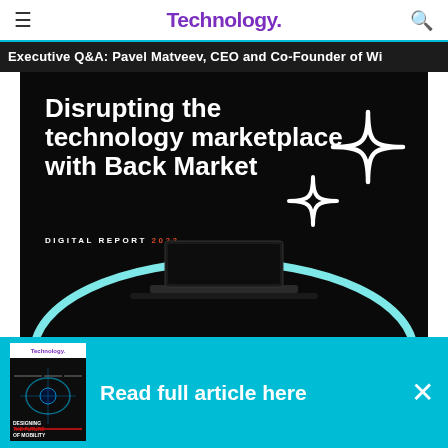Technology.
Executive Q&A: Pavel Matveev, CEO and Co-Founder of Wi...
[Figure (screenshot): Dark-themed digital report cover: 'Disrupting the technology marketplace with Back Market' with DIGITAL REPORT 2022 subtitle, sparkle/star decorations, and a teal arc with a laptop silhouette]
Disrupting the technology marketplace with Back Market
DIGITAL REPORT 2022
[Figure (infographic): Cyan/teal advertisement banner with Technology magazine thumbnail on left and 'Read full article here' text, with X close button]